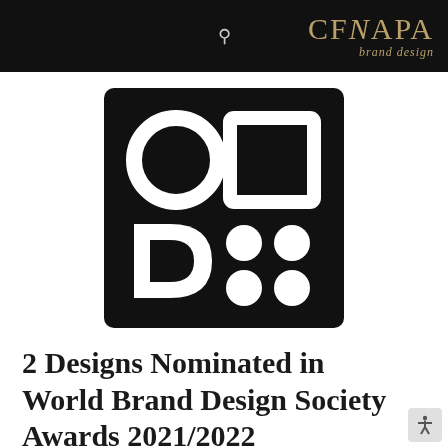CFNAPA brand design
[Figure (logo): World Brand Design Society logo: black square containing white geometric shapes — a circle outline (top-left), a square outline (top-right), a 'D' letterform (bottom-left), and four small circles in a 2x2 grid (bottom-right).]
2 Designs Nominated in World Brand Design Society Awards 2021/2022